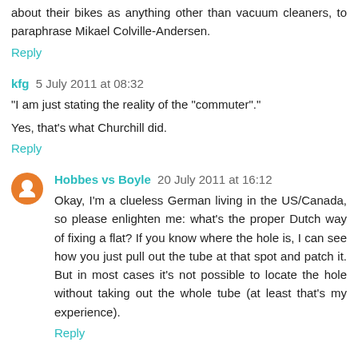about their bikes as anything other than vacuum cleaners, to paraphrase Mikael Colville-Andersen.
Reply
kfg  5 July 2011 at 08:32
"I am just stating the reality of the "commuter"."
Yes, that's what Churchill did.
Reply
Hobbes vs Boyle  20 July 2011 at 16:12
Okay, I'm a clueless German living in the US/Canada, so please enlighten me: what's the proper Dutch way of fixing a flat? If you know where the hole is, I can see how you just pull out the tube at that spot and patch it. But in most cases it's not possible to locate the hole without taking out the whole tube (at least that's my experience).
Reply